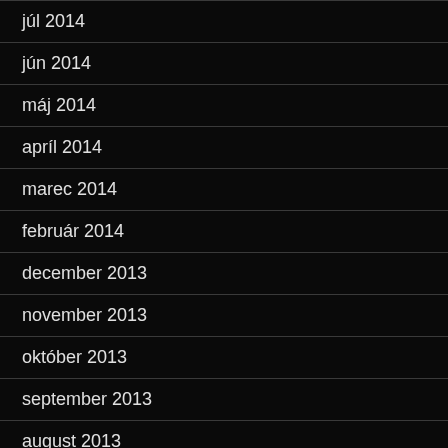júl 2014
jún 2014
máj 2014
apríl 2014
marec 2014
február 2014
december 2013
november 2013
október 2013
september 2013
august 2013
júl 2013
jún 2013